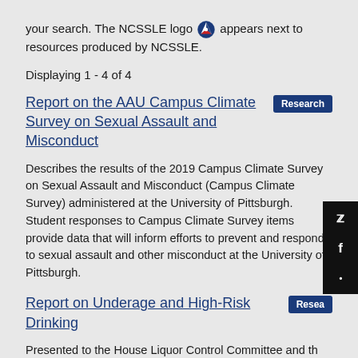your search. The NCSSLE logo appears next to resources produced by NCSSLE.
Displaying 1 - 4 of 4
Report on the AAU Campus Climate Survey on Sexual Assault and Misconduct
Research
Describes the results of the 2019 Campus Climate Survey on Sexual Assault and Misconduct (Campus Climate Survey) administered at the University of Pittsburgh. Student responses to Campus Climate Survey items provide data that will inform efforts to prevent and respond to sexual assault and other misconduct at the University of Pittsburgh.
Report on Underage and High-Risk Drinking
Research
Presented to the House Liquor Control Committee and th